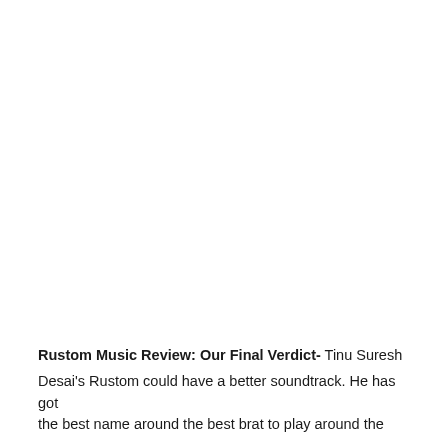Rustom Music Review: Our Final Verdict- Tinu Suresh Desai's Rustom could have a better soundtrack. He has got the best name around the best brat to play around the